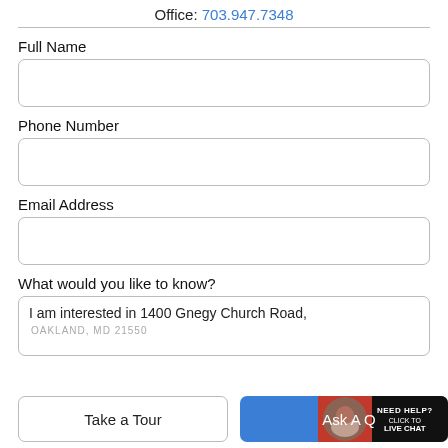Office: 703.947.7348
Full Name
Phone Number
Email Address
What would you like to know?
I am interested in 1400 Gnegy Church Road,
OAKLAND, MD 21550
Take a Tour
Ask A Q...